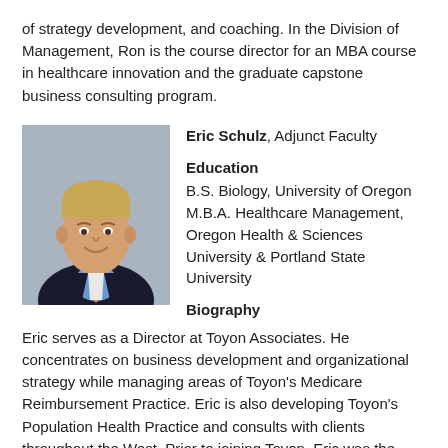of strategy development, and coaching. In the Division of Management, Ron is the course director for an MBA course in healthcare innovation and the graduate capstone business consulting program.
[Figure (photo): Headshot photo of Eric Schulz, a man in a suit and tie, smiling, with a gray background.]
Eric Schulz, Adjunct Faculty
Education
B.S. Biology, University of Oregon
M.B.A. Healthcare Management, Oregon Health & Sciences University & Portland State University
Biography
Eric serves as a Director at Toyon Associates. He concentrates on business development and organizational strategy while managing areas of Toyon's Medicare Reimbursement Practice. Eric is also developing Toyon's Population Health Practice and consults with clients throughout the West. Prior to joining Toyon, Eric was the Director of Business Development at Apprise Health Insights, a subsidiary of the Oregon Association of Hospitals & Health Systems. He also spent 20 years in marketing,